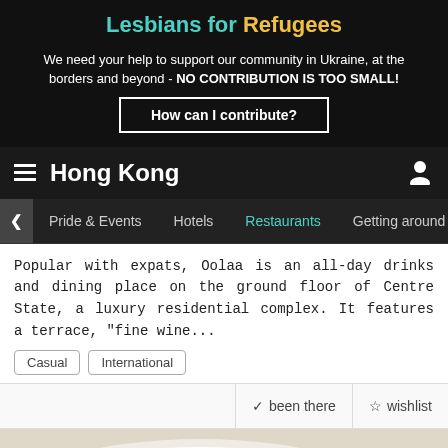Lesbians for Refugees
We need your help to support our community in Ukraine, at the borders and beyond - NO CONTRIBUTION IS TOO SMALL!
How can I contribute?
Hong Kong
Pride & Events  Hotels  Restaurants  Getting around
Popular with expats, Oolaa is an all-day drinks and dining place on the ground floor of Centre State, a luxury residential complex. It features a terrace, "fine wine...
Casual
International
✓ been there   ☆ wishlist
[Figure (photo): Photo of a gourmet dish with pasta, mushrooms and truffle shavings on a white plate]